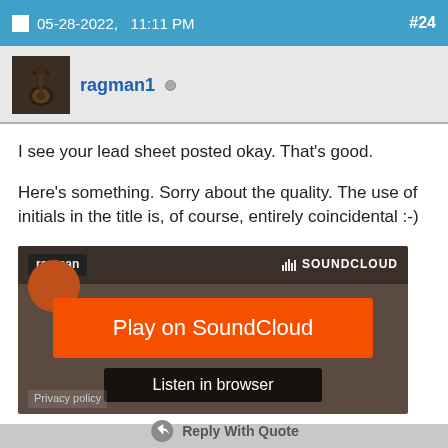05-28-2022,  11:11 PM  #24
ragman1
I see your lead sheet posted okay. That's good.

Here's something. Sorry about the quality. The use of initials in the title is, of course, entirely coincidental :-)
[Figure (screenshot): SoundCloud embedded player showing 'Play on SoundCloud' orange button and 'Listen in browser' button with Privacy policy link]
Reply With Quote